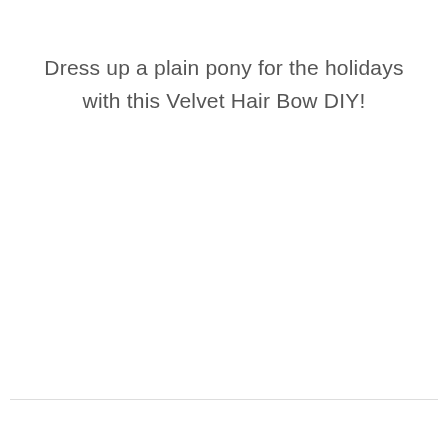Dress up a plain pony for the holidays with this Velvet Hair Bow DIY!